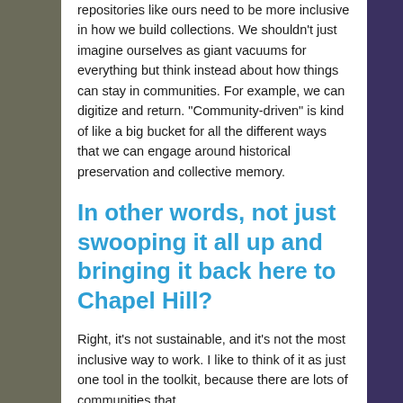repositories like ours need to be more inclusive in how we build collections. We shouldn't just imagine ourselves as giant vacuums for everything but think instead about how things can stay in communities. For example, we can digitize and return. “Community-driven” is kind of like a big bucket for all the different ways that we can engage around historical preservation and collective memory.
In other words, not just swooping it all up and bringing it back here to Chapel Hill?
Right, it’s not sustainable, and it’s not the most inclusive way to work. I like to think of it as just one tool in the toolkit, because there are lots of communities that